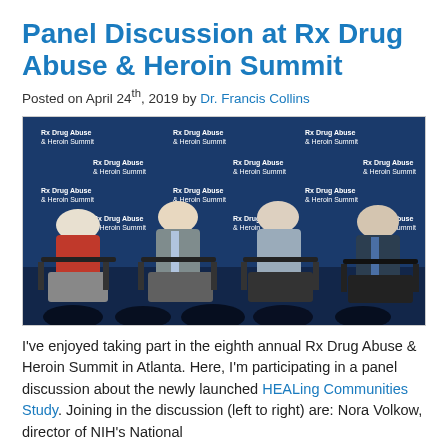Panel Discussion at Rx Drug Abuse & Heroin Summit
Posted on April 24th, 2019 by Dr. Francis Collins
[Figure (photo): Four panelists seated in black chairs on a stage at the Rx Drug Abuse & Heroin Summit, with a blue branded backdrop. Left to right: a woman with short white-blonde hair wearing a red blouse, a man in a gray suit, a woman with shoulder-length brown hair in a metallic jacket, and an older man in a dark suit on the far right.]
I've enjoyed taking part in the eighth annual Rx Drug Abuse & Heroin Summit in Atlanta. Here, I'm participating in a panel discussion about the newly launched HEALing Communities Study. Joining in the discussion (left to right) are: Nora Volkow, director of NIH's National